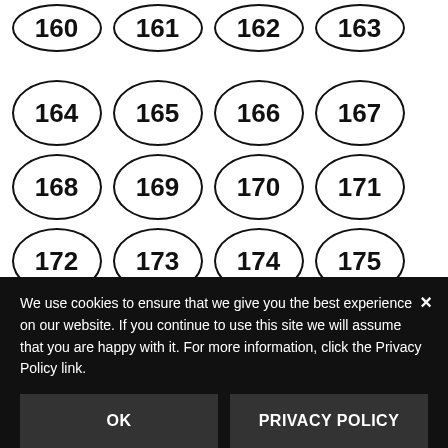[Figure (other): Grid of numbered oval buttons from 160 to 187, with 187 highlighted in black (active/selected). Last row shows 184, 185, 186, 187. A vertical Feedback tab is on the right side.]
We use cookies to ensure that we give you the best experience on our website. If you continue to use this site we will assume that you are happy with it. For more information, click the Privacy Policy link.
OK
PRIVACY POLICY